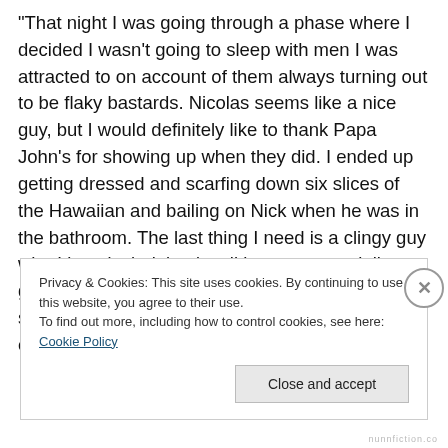“That night I was going through a phase where I decided I wasn’t going to sleep with men I was attracted to on account of them always turning out to be flaky bastards. Nicolas seems like a nice guy, but I would definitely like to thank Papa John’s for showing up when they did. I ended up getting dressed and scarfing down six slices of the Hawaiian and bailing on Nick when he was in the bathroom. The last thing I need is a clingy guy who I just devirginized stalking me, especially a guy who has “White Peach Chardonnay” hand soap on his bathroom sink  . . . Think you can convince him to lose my number?”
Privacy & Cookies: This site uses cookies. By continuing to use this website, you agree to their use.
To find out more, including how to control cookies, see here: Cookie Policy